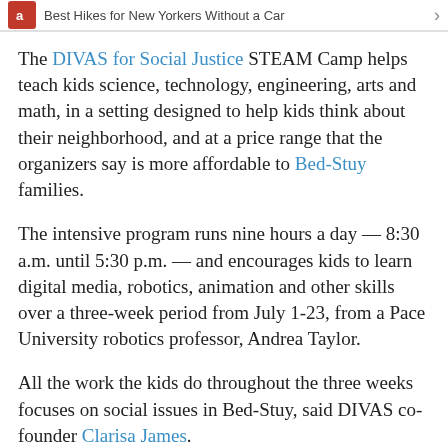Best Hikes for New Yorkers Without a Car
The DIVAS for Social Justice STEAM Camp helps teach kids science, technology, engineering, arts and math, in a setting designed to help kids think about their neighborhood, and at a price range that the organizers say is more affordable to Bed-Stuy families.
The intensive program runs nine hours a day — 8:30 a.m. until 5:30 p.m. — and encourages kids to learn digital media, robotics, animation and other skills over a three-week period from July 1-23, from a Pace University robotics professor, Andrea Taylor.
All the work the kids do throughout the three weeks focuses on social issues in Bed-Stuy, said DIVAS co-founder Clarisa James.